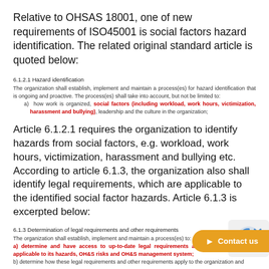Relative to OHSAS 18001, one of new requirements of ISO45001 is social factors hazard identification. The related original standard article is quoted below:
6.1.2.1 Hazard identification
The organization shall establish, implement and maintain a process(es) for hazard identification that is ongoing and proactive. The process(es) shall take into account, but not be limited to:
a) how work is organized, social factors (including workload, work hours, victimization, harassment and bullying), leadership and the culture in the organization;
Article 6.1.2.1 requires the organization to identify hazards from social factors, e.g. workload, work hours, victimization, harassment and bullying etc. According to article 6.1.3, the organization also shall identify legal requirements, which are applicable to the identified social factor hazards. Article 6.1.3 is excerpted below:
6.1.3 Determination of legal requirements and other requirements
The organization shall establish, implement and maintain a process(es) to:
a) determine and have access to up-to-date legal requirements and other requirements applicable to its hazards, OH&S risks and OH&S management system;
b) determine how these legal requirements and other requirements apply to the organization and